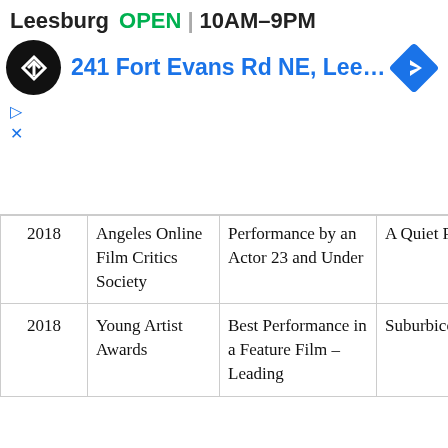[Figure (infographic): Google Maps style ad banner showing Leesburg store: OPEN 10AM-9PM, address 241 Fort Evans Rd NE, Lee..., with navigation icon and store logo]
| Year | Organization | Award | Film | Result |
| --- | --- | --- | --- | --- |
| 2018 | Angeles Online Film Critics Society | Performance by an Actor 23 and Under | A Quiet Place | N |
| 2018 | Young Artist Awards | Best Performance in a Feature Film – Leading | Suburbicon | N |